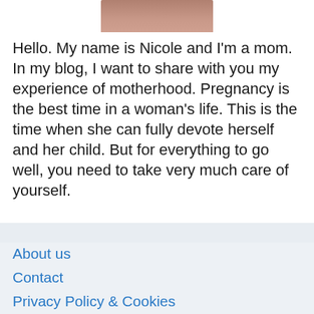[Figure (photo): Partial photo of a woman with dark hair, cropped at the bottom, centered at the top of the page]
Hello. My name is Nicole and I'm a mom. In my blog, I want to share with you my experience of motherhood. Pregnancy is the best time in a woman's life. This is the time when she can fully devote herself and her child. But for everything to go well, you need to take very much care of yourself.
About us
Contact
Privacy Policy & Cookies
ATTENTION TO RIGHT HOLDERS! All materials are posted on the site strictly for